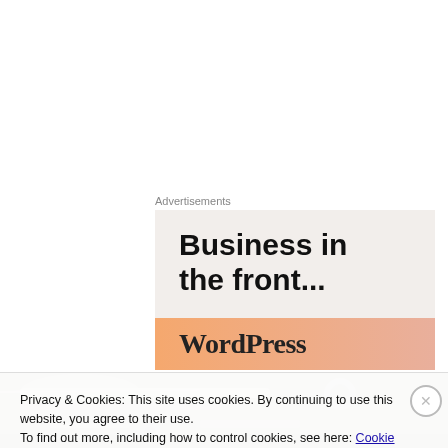Advertisements
[Figure (screenshot): WordPress advertisement banner with text 'Business in the front...' on light beige background with orange/pink gradient bar and WordPress text]
[Figure (photo): Close-up photo of industrial machinery/gears with metallic bolts and dark tones]
Privacy & Cookies: This site uses cookies. By continuing to use this website, you agree to their use.
To find out more, including how to control cookies, see here: Cookie Policy
Close and accept